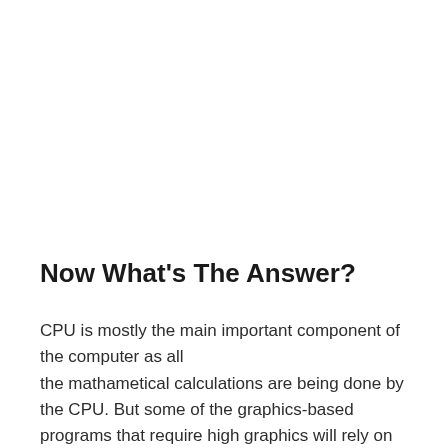Now What’s The Answer?
CPU is mostly the main important component of the computer as all the mathametical calculations are being done by the CPU. But some of the graphics-based programs that require high graphics will rely on GPU chipsets. But the graphics requirements for